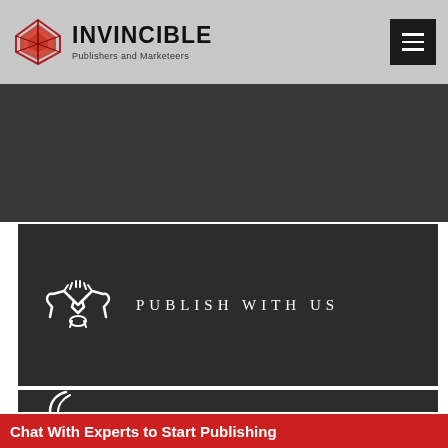INVINCIBLE Publishers and Marketeers
[Figure (logo): Invincible Publishers and Marketeers logo with geometric red/dark icon and bold black text]
[Figure (other): Dark grey banner/hero section]
[Figure (illustration): Handshake icon with PUBLISH WITH US text on dark background]
[Figure (other): Second dark section with partial icon visible]
Chat With Experts to Start Publishing